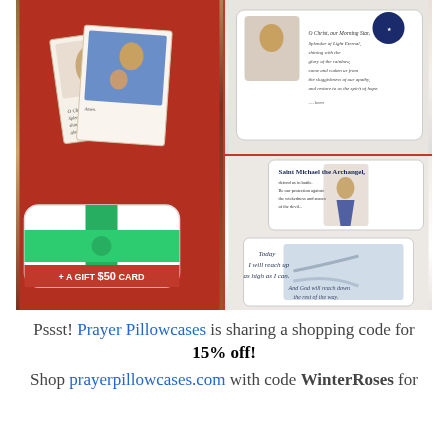[Figure (photo): Collage photo showing prayer pillowcases and prayer cards with religious art (Madonna and child, Saint Michael the Archangel), plus a decorative pillow with a gift ribbon and '$50 GIFT CARD' tag, and a white pillowcase with inspirational text 'Today I will reach up as high as I can. And God will reach down the rest of the way.']
Pssst! Prayer Pillowcases is sharing a shopping code for 15% off! Shop prayerpillowcases.com with code WinterRoses for grace-filled gifts and stocking stuffers you can personalize!